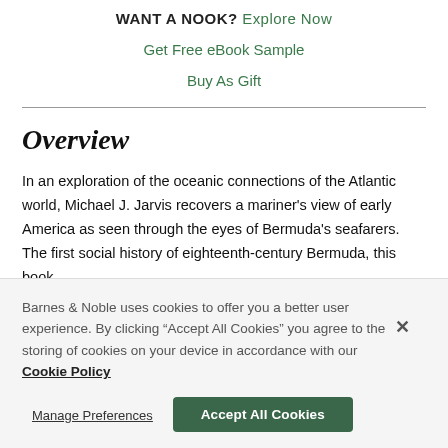WANT A NOOK? Explore Now
Get Free eBook Sample
Buy As Gift
Overview
In an exploration of the oceanic connections of the Atlantic world, Michael J. Jarvis recovers a mariner's view of early America as seen through the eyes of Bermuda's seafarers. The first social history of eighteenth-century Bermuda, this book
Barnes & Noble uses cookies to offer you a better user experience. By clicking "Accept All Cookies" you agree to the storing of cookies on your device in accordance with our Cookie Policy
Manage Preferences
Accept All Cookies